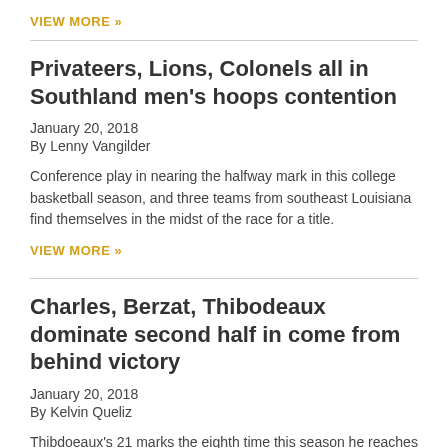VIEW MORE »
Privateers, Lions, Colonels all in Southland men's hoops contention
January 20, 2018
By Lenny Vangilder
Conference play in nearing the halfway mark in this college basketball season, and three teams from southeast Louisiana find themselves in the midst of the race for a title.
VIEW MORE »
Charles, Berzat, Thibodeaux dominate second half in come from behind victory
January 20, 2018
By Kelvin Queliz
Thibdoeaux's 21 marks the eighth time this season he reaches 20